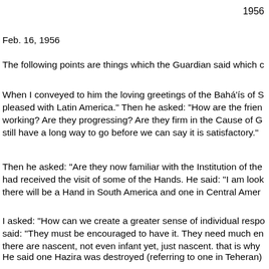1956
Feb. 16, 1956
The following points are things which the Guardian said which c
When I conveyed to him the loving greetings of the Bahá'ís of S pleased with Latin America." Then he asked: "How are the frien working? Are they progressing? Are they firm in the Cause of G still have a long way to go before we can say it is satisfactory."
Then he asked: "Are they now familiar with the Institution of the had received the visit of some of the Hands. He said: "I am look there will be a Hand in South America and one in Central Amer
I asked: "How can we create a greater sense of individual respo said: "They must be encouraged to have it. They need much en there are nascent, not even infant yet, just nascent. that is why
He said one Hazira was destroyed (referring to one in Teheran)